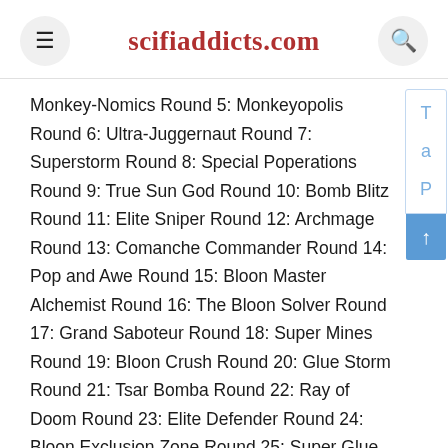scifiaddicts.com
Monkey-Nomics Round 5: Monkeyopolis Round 6: Ultra-Juggernaut Round 7: Superstorm Round 8: Special Poperations Round 9: True Sun God Round 10: Bomb Blitz Round 11: Elite Sniper Round 12: Archmage Round 13: Comanche Commander Round 14: Pop and Awe Round 15: Bloon Master Alchemist Round 16: The Bloon Solver Round 17: Grand Saboteur Round 18: Super Mines Round 19: Bloon Crush Round 20: Glue Storm Round 21: Tsar Bomba Round 22: Ray of Doom Round 23: Elite Defender Round 24: Bloon Exclusion Zone Round 25: Super Glue Round 26: Super Maelstrom Round 27: XXXL Trap Round 28: Carpet of Spikes Round 29: MOAB Eliminator Round 30: Energizer Round 31: Master Bomber Round 32: Sentry Champion Round 33: The